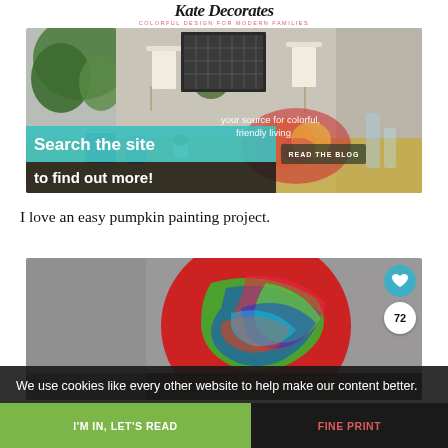Kate Decorates — COLORFUL DESIGN FOR MODERN FAMILIES
[Figure (photo): Interior design blog hero image with text overlay 'your source for colorful, friendly living' and 'Search the site to find out more!' over a room setting with plants, lamps, and a colorful table setting. Teal/turquoise overlay bar and 'READ THE BLOG' button visible.]
I love an easy pumpkin painting project.
[Figure (photo): Close-up photo of a colorfully painted pumpkin with swirled neon red, green, and blue paint, with a heart icon badge and the number 72 visible in the upper right corner of the image.]
We use cookies like every other website to help make our content better.
I'M IN, LET'S READ
FINE PRINT